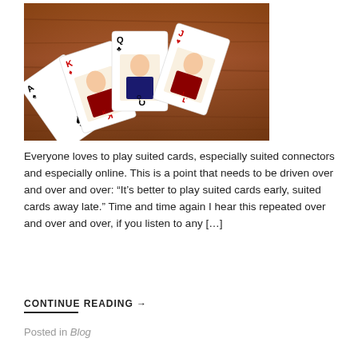[Figure (photo): A fan of playing cards spread on a wooden table surface, showing Ace of Spades, King of Diamonds, Queen of Clubs, and Jack of Hearts.]
Everyone loves to play suited cards, especially suited connectors and especially online. This is a point that needs to be driven over and over and over: “It’s better to play suited cards early, suited cards away late.” Time and time again I hear this repeated over and over and over, if you listen to any […]
CONTINUE READING →
Posted in Blog